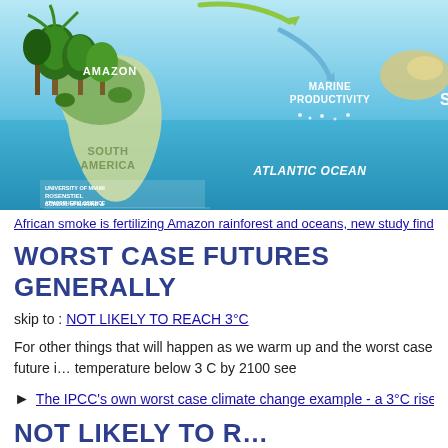[Figure (illustration): Illustrated infographic showing South America with Amazon rainforest trees, arrows indicating airflow/smoke from Africa, blue Atlantic Ocean with label 'MARINE PRODUCTIVITY', and branding for University of Miami Rosenstiel School of Marine & Atmospheric Science. Labels: AMAZON, SOUTH AMERICA, ATLANTIC OCEAN, MARINE PRODUCTIVITY. URL: www.rsmas.miami.edu]
African smoke is fertilizing Amazon rainforest and oceans, new study finds
WORST CASE FUTURES GENERALLY
skip to : NOT LIKELY TO REACH 3°C
For other things that will happen as we warm up and the worst case future if we keep the temperature below 3 C by 2100 see
The IPCC's own worst case climate change example - a 3°C rise by 210...
NOT LIKELY TO REACH 3°C